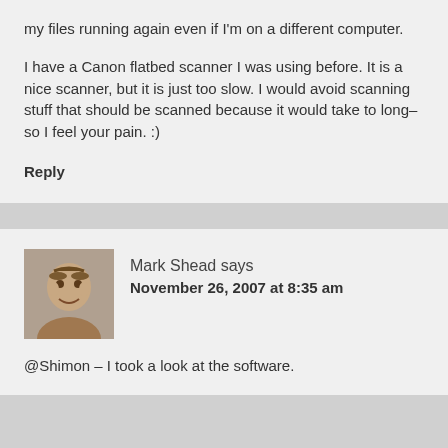my files running again even if I'm on a different computer.
I have a Canon flatbed scanner I was using before. It is a nice scanner, but it is just too slow. I would avoid scanning stuff that should be scanned because it would take to long–so I feel your pain. :)
Reply
[Figure (photo): Avatar photo of Mark Shead, a man smiling]
Mark Shead says
November 26, 2007 at 8:35 am
@Shimon – I took a look at the software.